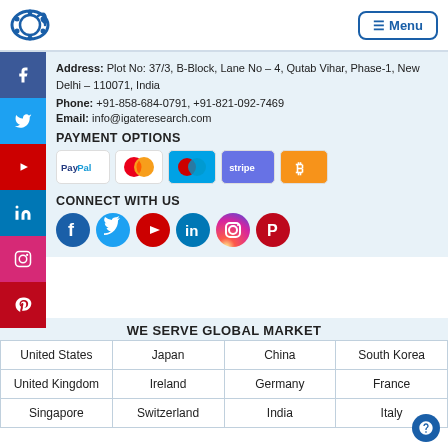[Figure (logo): iGate Research logo - circular gear/satellite icon in blue]
☰ Menu
Address: Plot No: 37/3, B-Block, Lane No – 4, Qutab Vihar, Phase-1, New Delhi – 110071, India
Phone: +91-858-684-0791, +91-821-092-7469
Email: info@igateresearch.com
PAYMENT OPTIONS
[Figure (infographic): Payment icons: PayPal, Mastercard, Maestro, Stripe, Bitcoin]
CONNECT WITH US
[Figure (infographic): Social media icons: Facebook icon, Twitter, YouTube, LinkedIn, Instagram, Pinterest]
WE SERVE GLOBAL MARKET
| United States | Japan | China | South Korea |
| United Kingdom | Ireland | Germany | France |
| Singapore | Switzerland | India | Italy |